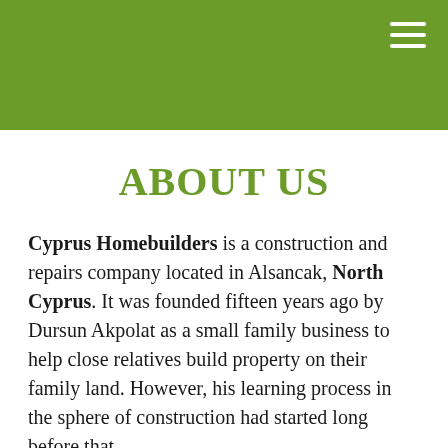ABOUT US
Cyprus Homebuilders is a construction and repairs company located in Alsancak, North Cyprus. It was founded fifteen years ago by Dursun Akpolat as a small family business to help close relatives build property on their family land. However, his learning process in the sphere of construction had started long before that.
Professional Development